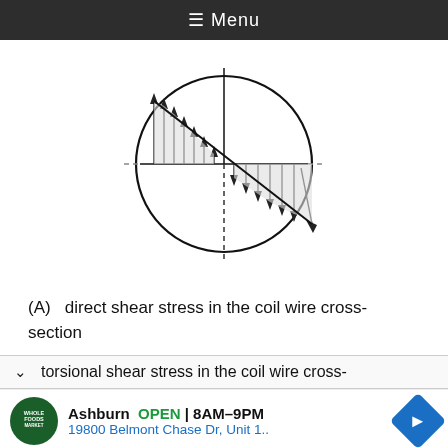≡ Menu
[Figure (engineering-diagram): A circular cross-section with horizontal and vertical center lines (the vertical being dashed below center). Shear stress distribution is shown: upward arrows on the left half of the diameter (tallest near top, decreasing toward center), and downward arrows on the right half that increase toward the bottom-right, all emanating from a diagonal line across the circle.]
(A)   direct shear stress in the coil wire cross-section
torsional shear stress in the coil wire cross-
[Figure (infographic): Ad banner: Whole Foods Market logo, Ashburn OPEN 8AM-9PM, 19800 Belmont Chase Dr, Unit 1.., navigation arrow diamond icon]
Ashburn  OPEN  8AM–9PM
19800 Belmont Chase Dr, Unit 1..